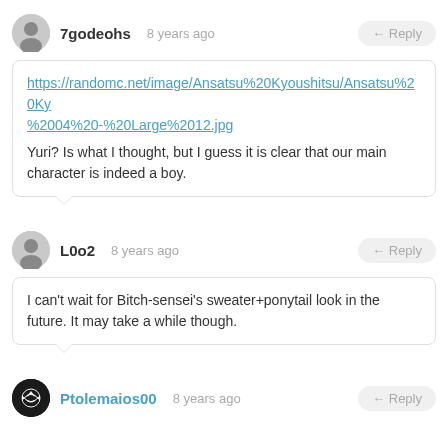7godeohs  8 years ago  ← Reply
https://randomc.net/image/Ansatsu%20Kyoushitsu/Ansatsu%20Ky%2004%20-%20Large%2012.jpg
Yuri? Is what I thought, but I guess it is clear that our main character is indeed a boy.
L0o2  8 years ago  ← Reply
I can't wait for Bitch-sensei's sweater+ponytail look in the future. It may take a while though.
Ptolemaios00  8 years ago  ← Reply